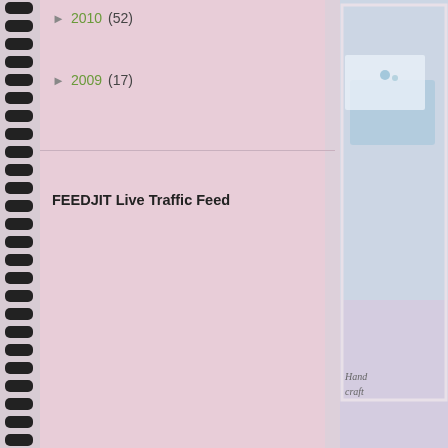► 2010 (52)
► 2009 (17)
FEEDJIT Live Traffic Feed
[Figure (photo): Partial view of handmade craft cards on a table, with text 'Hand craft' partially visible at bottom right]
Hand craft